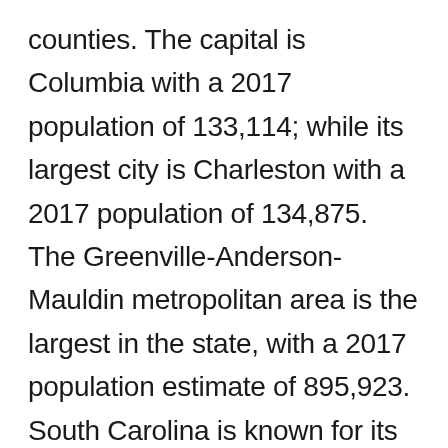counties. The capital is Columbia with a 2017 population of 133,114; while its largest city is Charleston with a 2017 population of 134,875. The Greenville-Anderson-Mauldin metropolitan area is the largest in the state, with a 2017 population estimate of 895,923. South Carolina is known for its 187 miles of coastline, beautiful lush gardens, historic sites and Southern plantations, colonial, African and European cultures, and its growing economic development. The state can be divided into three